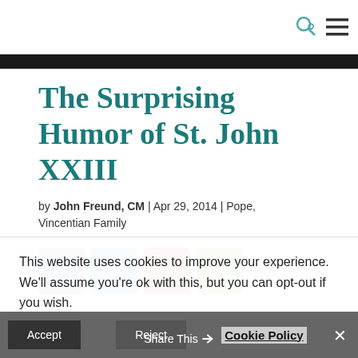The Surprising Humor of St. John XXIII
by John Freund, CM | Apr 29, 2014 | Pope, Vincentian Family
[Figure (other): Social sharing buttons: Facebook (blue), Twitter (light blue), Pinterest (red), Print (green)]
This website uses cookies to improve your experience. We'll assume you're ok with this, but you can opt-out if you wish.
Accept | Reject | Cookie Policy | Share This ✕